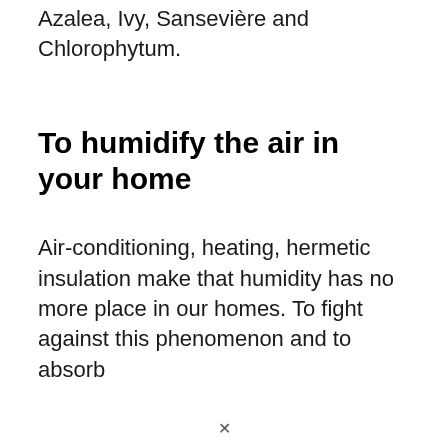Azalea, Ivy, Sansevière and Chlorophytum.
To humidify the air in your home
Air-conditioning, heating, hermetic insulation make that humidity has no more place in our homes. To fight against this phenomenon and to absorb